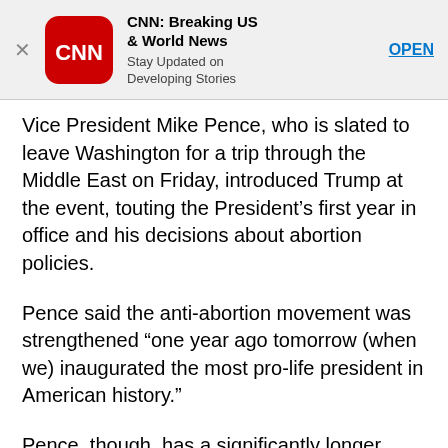[Figure (screenshot): CNN app advertisement banner with CNN logo, title 'CNN: Breaking US & World News', subtitle 'Stay Updated on Developing Stories', and an OPEN button]
Vice President Mike Pence, who is slated to leave Washington for a trip through the Middle East on Friday, introduced Trump at the event, touting the President’s first year in office and his decisions about abortion policies.
Pence said the anti-abortion movement was strengthened “one year ago tomorrow (when we) inaugurated the most pro-life president in American history.”
Pence, though, has a significantly longer record of anti-abortion activism than Trump.
Where the former governor of Indiana has long labeled himself an anti-abortion activist, Trump used